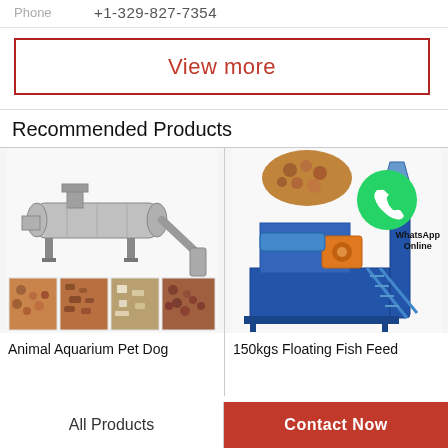Phone   +1-329-827-7354
View more
Recommended Products
[Figure (photo): Industrial pet food extruder machine with conveyor belt and four sample images of pet food types below]
Animal Aquarium Pet Dog
[Figure (photo): 150kgs floating fish feed machine in blue with orange motor, WhatsApp Online overlay icon, and brown fish pellets shown at top]
150kgs Floating Fish Feed
All Products
Contact Now